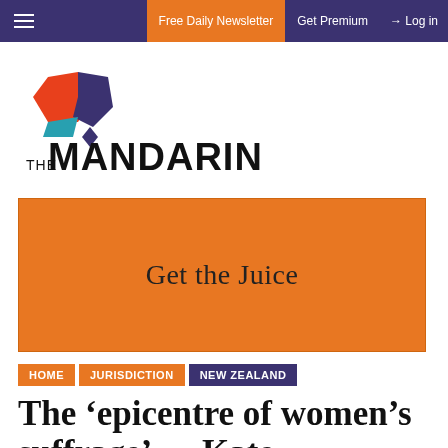Free Daily Newsletter  Get Premium  Log in
[Figure (logo): The Mandarin logo — geometric red/blue/teal diamond shape with text THE MANDARIN below]
[Figure (infographic): Orange advertisement banner reading 'Get the Juice']
HOME  JURISDICTION  NEW ZEALAND
The 'epicentre of women's suffrage' — Kate Sheppard's Christchurch